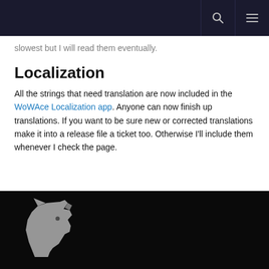[navigation bar with search and menu icons]
slowest but I will read them eventually.
Localization
All the strings that need translation are now included in the WoWAce Localization app. Anyone can now finish up translations. If you want to be sure new or corrected translations make it into a release file a ticket too. Otherwise I'll include them whenever I check the page.
[wolf logo on dark background]